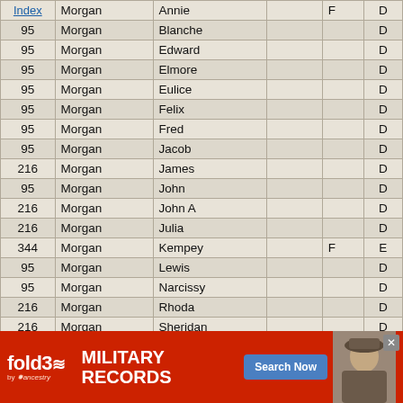|  | Morgan | Annie |  | F | D |
| --- | --- | --- | --- | --- | --- |
| 95 | Morgan | Blanche |  |  | D |
| 95 | Morgan | Edward |  |  | D |
| 95 | Morgan | Elmore |  |  | D |
| 95 | Morgan | Eulice |  |  | D |
| 95 | Morgan | Felix |  |  | D |
| 95 | Morgan | Fred |  |  | D |
| 95 | Morgan | Jacob |  |  | D |
| 216 | Morgan | James |  |  | D |
| 95 | Morgan | John |  |  | D |
| 216 | Morgan | John A |  |  | D |
| 216 | Morgan | Julia |  |  | D |
| 344 | Morgan | Kempey |  | F | E |
| 95 | Morgan | Lewis |  |  | D |
| 95 | Morgan | Narcissy |  |  | D |
| 216 | Morgan | Rhoda |  |  | D |
| 216 | Morgan | Sheridan |  |  | D |
| 216 | Morgan | William | T |  | D |
| 95 | M... |  |  |  | D |
| 495 | M... |  |  |  | D |